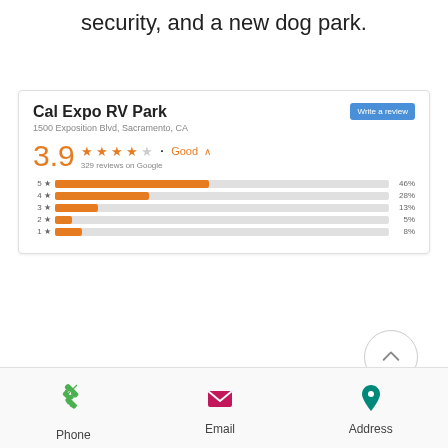security, and a new dog park.
Cal Expo RV Park
1500 Exposition Blvd, Sacramento, CA
3.9 ★★★★ Good ^ 329 reviews on Google
[Figure (bar-chart): Rating distribution]
Phone
Email
Address